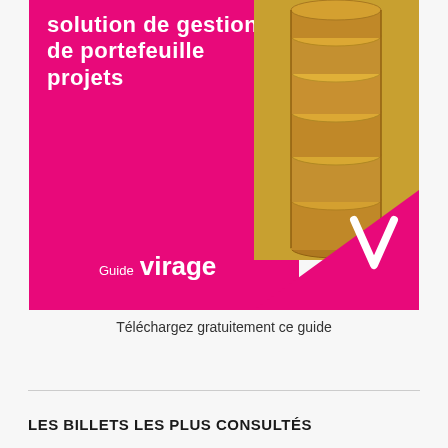[Figure (illustration): Pink/magenta marketing banner for a project portfolio management guide ('solution de gestion de portefeuille projets'). Left portion is solid pink/magenta with white bold title text and 'Guide virage' logo text at the bottom. Right portion shows a stack of gold coins photo. Bottom-right has a pink triangle with a white 'V' checkmark logo.]
Téléchargez gratuitement ce guide
LES BILLETS LES PLUS CONSULTÉS